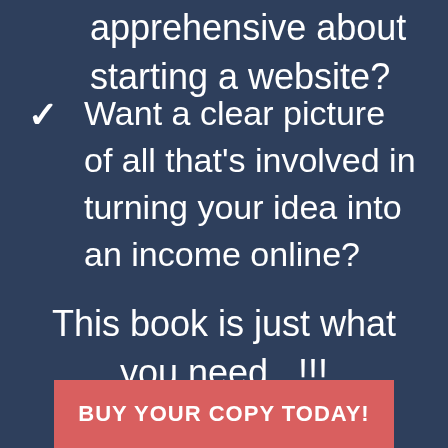apprehensive about starting a website?
Want a clear picture of all that's involved in turning your idea into an income online?
This book is just what you need...!!!
BUY YOUR COPY TODAY!